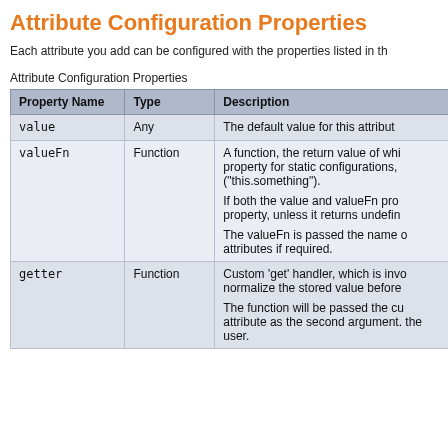Attribute Configuration Properties
Each attribute you add can be configured with the properties listed in th...
Attribute Configuration Properties
| Property Name | Type | Description |
| --- | --- | --- |
| value | Any | The default value for this attribut... |
| valueFn | Function | A function, the return value of whi... property for static configurations, ... ("this.something").

If both the value and valueFn pro... property, unless it returns undefin...

The valueFn is passed the name o... attributes if required. |
| getter | Function | Custom 'get' handler, which is invo... normalize the stored value before...

The function will be passed the cu... attribute as the second argument... the user. |